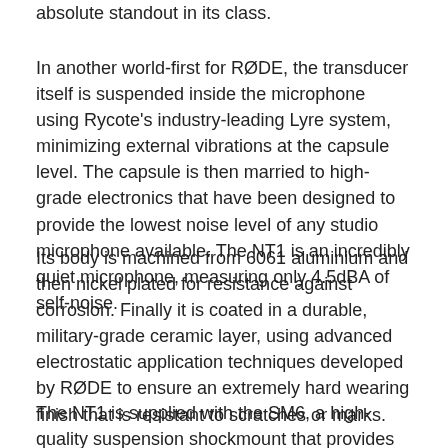absolute standout in its class.
In another world-first for RØDE, the transducer itself is suspended inside the microphone using Rycote's industry-leading Lyre system, minimizing external vibrations at the capsule level. The capsule is then married to high-grade electronics that have been designed to provide the lowest noise level of any studio microphone available. The NT1 is an incredibly quiet microphone, measuring only 4.5dBA of self-noise.
Its body is machined from 6061 aluminium and then nickel plated for resistance against corrosion. Finally it is coated in a durable, military-grade ceramic layer, using advanced electrostatic application techniques developed by RØDE to ensure an extremely hard wearing finish that is resistant to scratches or marks.
The NT1 is supplied with the SM6, a high-quality suspension shockmount that provides isolation from